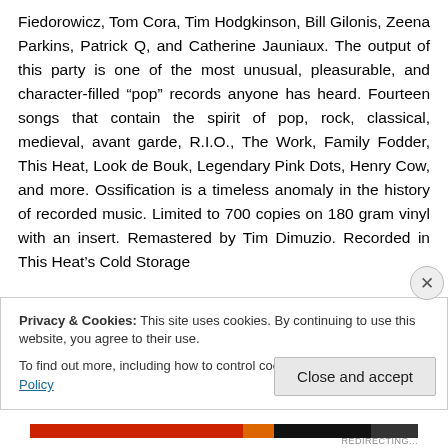Fiedorowicz, Tom Cora, Tim Hodgkinson, Bill Gilonis, Zeena Parkins, Patrick Q, and Catherine Jauniaux. The output of this party is one of the most unusual, pleasurable, and character-filled “pop” records anyone has heard. Fourteen songs that contain the spirit of pop, rock, classical, medieval, avant garde, R.I.O., The Work, Family Fodder, This Heat, Look de Bouk, Legendary Pink Dots, Henry Cow, and more. Ossification is a timeless anomaly in the history of recorded music. Limited to 700 copies on 180 gram vinyl with an insert. Remastered by Tim Dimuzio. Recorded in This Heat’s Cold Storage
Privacy & Cookies: This site uses cookies. By continuing to use this website, you agree to their use.
To find out more, including how to control cookies, see here: Cookie Policy
Close and accept